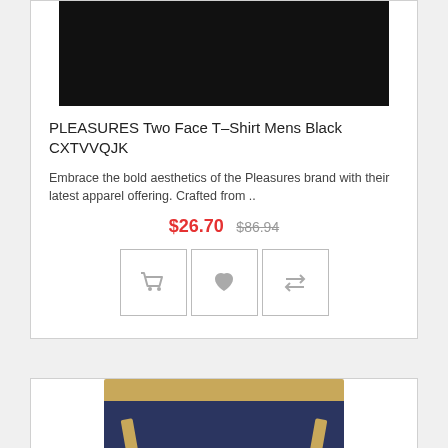[Figure (photo): Black t-shirt product photo on dark background (cropped top portion)]
PLEASURES Two Face T-Shirt Mens Black CXTVVQJK
Embrace the bold aesthetics of the Pleasures brand with their latest apparel offering. Crafted from ..
$26.70  $86.94
[Figure (screenshot): Three action icon buttons: shopping cart, heart/wishlist, and compare arrows]
[Figure (photo): Navy blue track pants with tan/khaki waistband and pocket trim, partial view (cropped)]